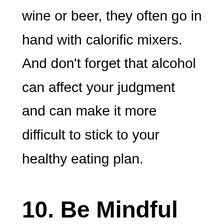wine or beer, they often go in hand with calorific mixers. And don't forget that alcohol can affect your judgment and can make it more difficult to stick to your healthy eating plan.
10. Be Mindful
Mindfulness is having your mind focus on what is happening in the moment, to be aware of where you are and what you